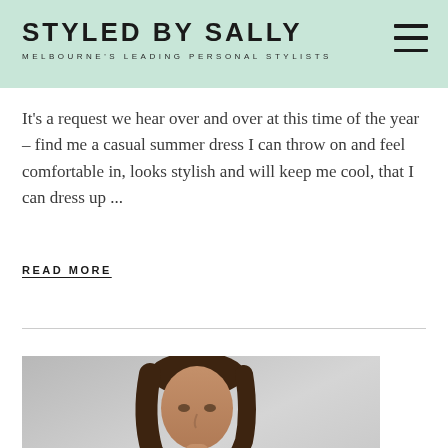STYLED BY SALLY
MELBOURNE'S LEADING PERSONAL STYLISTS
It's a request we hear over and over at this time of the year – find me a casual summer dress I can throw on and feel comfortable in, looks stylish and will keep me cool, that I can dress up ...
READ MORE
[Figure (photo): Photo of a woman with dark brown hair, partial face visible, against a light grey background]